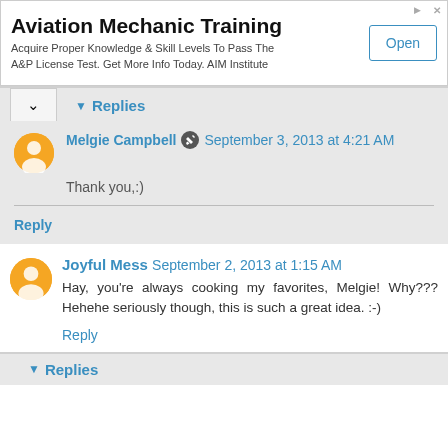[Figure (infographic): Advertisement banner for Aviation Mechanic Training by AIM Institute with Open button]
Aviation Mechanic Training
Acquire Proper Knowledge & Skill Levels To Pass The A&P License Test. Get More Info Today. AIM Institute
▾ Replies
Melgie Campbell  September 3, 2013 at 4:21 AM
Thank you,:)
Reply
Joyful Mess  September 2, 2013 at 1:15 AM
Hay, you're always cooking my favorites, Melgie! Why??? Hehehe seriously though, this is such a great idea. :-)
Reply
▾ Replies